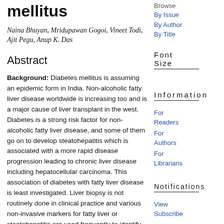mellitus
Naina Bhuyan, Mridupawan Gogoi, Vineet Todi, Ajit Pegu, Anup K. Das
Abstract
Background: Diabetes mellitus is assuming an epidemic form in India. Non-alcoholic fatty liver disease worldwide is increasing too and is a major cause of liver transplant in the west. Diabetes is a strong risk factor for non-alcoholic fatty liver disease, and some of them go on to develop steatohepatitis which is associated with a more rapid disease progression leading to chronic liver disease including hepatocellular carcinoma. This association of diabetes with fatty liver disease is least investigated. Liver biopsy is not routinely done in clinical practice and various non-invasive markers for fatty liver or steatohepatitis are used frequently to identify patients at risk of
Browse
By Issue
By Author
By Title
Font Size
Information
For Readers
For Authors
For Librarians
Notifications
View
Subscribe